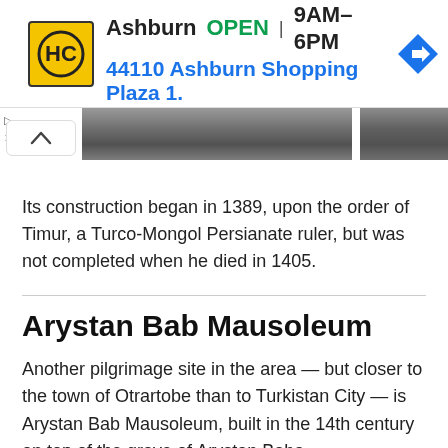[Figure (infographic): Advertisement banner for HC (Home Depot or similar store) showing logo, Ashburn location, OPEN status, hours 9AM-6PM, address 44110 Ashburn Shopping Plaza 1., and a blue navigation arrow diamond icon]
[Figure (photo): Partial image strip showing a dark landscape or architectural photograph, split across two panels]
Its construction began in 1389, upon the order of Timur, a Turco-Mongol Persianate ruler, but was not completed when he died in 1405.
Arystan Bab Mausoleum
Another pilgrimage site in the area — but closer to the town of Otrartobe than to Turkistan City — is Arystan Bab Mausoleum, built in the 14th century on top of the grave of Arystan Baba.